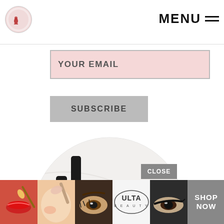MENU
YOUR EMAIL
SUBSCRIBE
[Figure (logo): Circular logo with red heeled shoes and text 'Save. Spend. Splurge.' in elegant script on a light marble background]
[Figure (photo): Bottom banner with beauty photos: lips with makeup brush, cheek with blush brush, eye makeup, ULTA Beauty logo, dramatic eye makeup, SHOP NOW button, and scroll-up arrow]